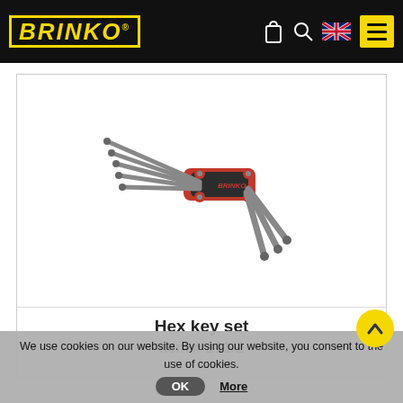BRINKO
[Figure (photo): A folding hex key set with red and black handles, multiple Allen keys fanned out in both directions from a central hinge.]
Hex key set
Item # 111/2
We use cookies on our website. By using our website, you consent to the use of cookies.